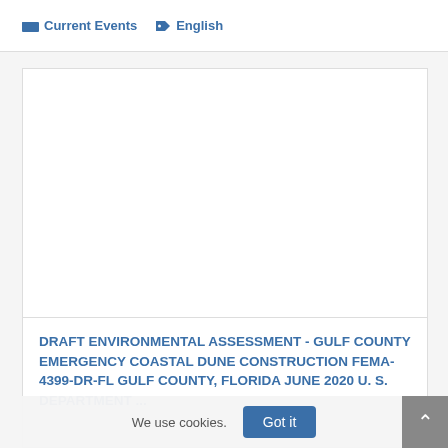Current Events   English
[Figure (other): Blank white image area inside a card/document preview box]
DRAFT ENVIRONMENTAL ASSESSMENT - GULF COUNTY EMERGENCY COASTAL DUNE CONSTRUCTION FEMA-4399-DR-FL GULF COUNTY, FLORIDA JUNE 2020 U. S. DEPARTMENT ...
We use cookies.